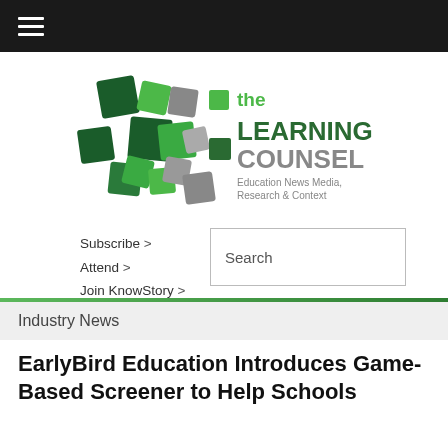≡
[Figure (logo): The Learning Counsel logo — colorful green and gray overlapping squares with text 'the LEARNING COUNSEL Education News Media, Research & Context']
Subscribe >
Attend >
Join KnowStory >
Search
Industry News
EarlyBird Education Introduces Game-Based Screener to Help Schools